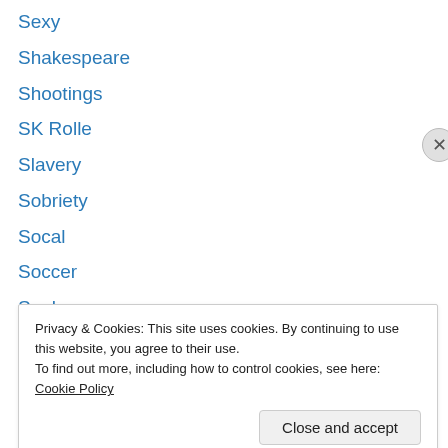Sexy
Shakespeare
Shootings
SK Rolle
Slavery
Sobriety
Socal
Soccer
Soul
Space
Space Travel
Spain
Spanish
Privacy & Cookies: This site uses cookies. By continuing to use this website, you agree to their use.
To find out more, including how to control cookies, see here: Cookie Policy
Close and accept